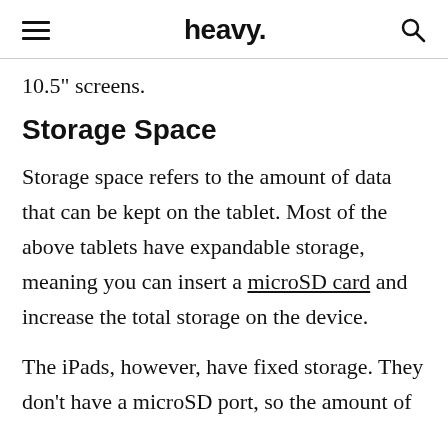heavy.
10.5" screens.
Storage Space
Storage space refers to the amount of data that can be kept on the tablet. Most of the above tablets have expandable storage, meaning you can insert a microSD card and increase the total storage on the device.
The iPads, however, have fixed storage. They don't have a microSD port, so the amount of